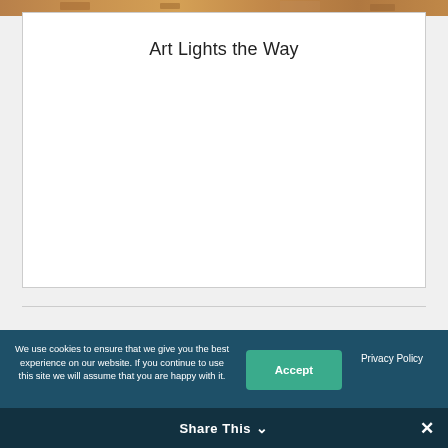[Figure (photo): Partial image strip at the very top of the page, showing a warm-toned sandy/stone texture, cropped from an article thumbnail.]
Art Lights the Way
We use cookies to ensure that we give you the best experience on our website. If you continue to use this site we will assume that you are happy with it.
Accept
Privacy Policy
Share This